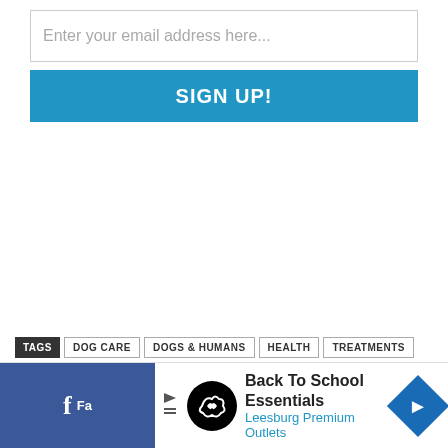Enter your email address here...
SIGN UP!
TAGS  DOG CARE  DOGS & HUMANS  HEALTH  TREATMENTS
[Figure (screenshot): Advertisement banner: Back To School Essentials - Leesburg Premium Outlets with logo and directional arrow diamond icon]
[Figure (screenshot): Facebook share button stub on the left side of the ad banner]